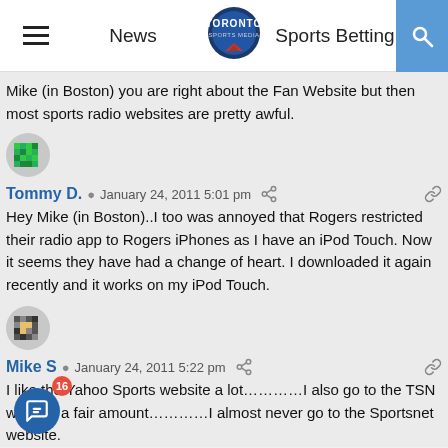News | Toronto Sports Media | Sports Betting
Mike (in Boston) you are right about the Fan Website but then most sports radio websites are pretty awful.
[Figure (illustration): Green pixel-art avatar for Tommy D.]
Tommy D.  January 24, 2011 5:01 pm
Hey Mike (in Boston)..I too was annoyed that Rogers restricted their radio app to Rogers iPhones as I have an iPod Touch. Now it seems they have had a change of heart. I downloaded it again recently and it works on my iPod Touch.
[Figure (illustration): Dark pixel-art avatar for Mike S.]
Mike S  January 24, 2011 5:22 pm
I like the Yahoo Sports website a lot…………I also go to the TSN website a fair amount…………I almost never go to the Sportsnet website.